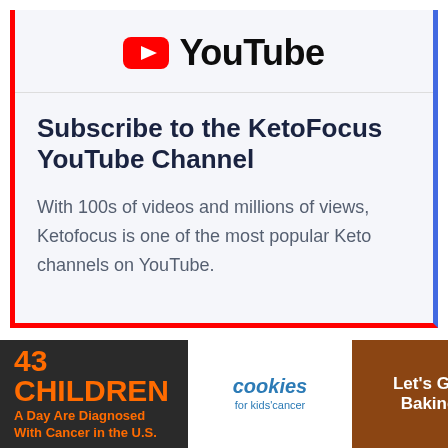[Figure (logo): YouTube logo with red play button icon and YouTube wordmark in black]
Subscribe to the KetoFocus YouTube Channel
With 100s of videos and millions of views, Ketofocus is one of the most popular Keto channels on YouTube.
[Figure (infographic): Advertisement banner: '43 CHILDREN A Day Are Diagnosed With Cancer in the U.S.' with cookies for kids' cancer logo and 'Let's Get Baking' text]